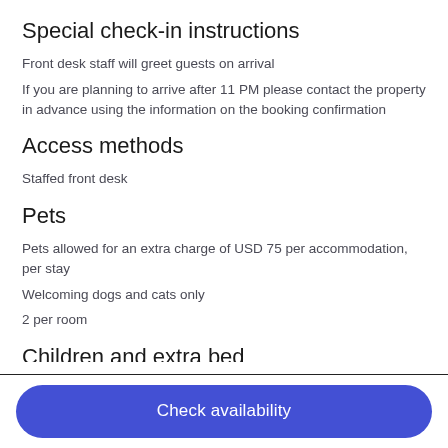Special check-in instructions
Front desk staff will greet guests on arrival
If you are planning to arrive after 11 PM please contact the property in advance using the information on the booking confirmation
Access methods
Staffed front desk
Pets
Pets allowed for an extra charge of USD 75 per accommodation, per stay
Welcoming dogs and cats only
2 per room
Children and extra beds
Check availability